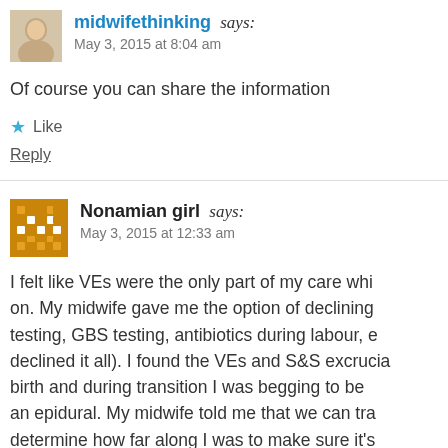[Figure (photo): Avatar photo of midwifethinking commenter]
midwifethinking says:
May 3, 2015 at 8:04 am
Of course you can share the information
★ Like
Reply
[Figure (logo): Nonamian girl avatar icon — golden pixel/mosaic style icon]
Nonamian girl says:
May 3, 2015 at 12:33 am
I felt like VEs were the only part of my care whi on. My midwife gave me the option of declining testing, GBS testing, antibiotics during labour, e declined it all). I found the VEs and S&S excrucia birth and during transition I was begging to be an epidural. My midwife told me that we can tra determine how far along I was to make sure it's